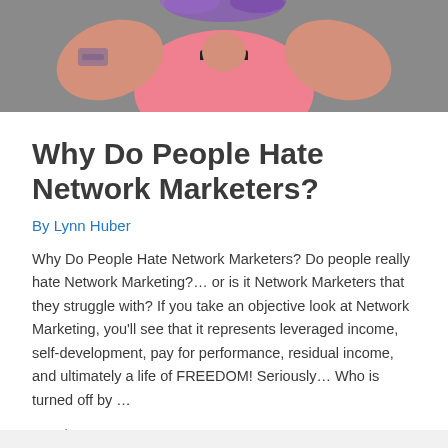[Figure (photo): Photo of a woman with purple hair wearing a pink top and black suspenders, with visible arm tattoos, posed with arms raised]
Why Do People Hate Network Marketers?
By Lynn Huber
Why Do People Hate Network Marketers? Do people really hate Network Marketing?… or is it Network Marketers that they struggle with? If you take an objective look at Network Marketing, you'll see that it represents leveraged income, self-development, pay for performance, residual income, and ultimately a life of FREEDOM! Seriously… Who is turned off by …
Read More »